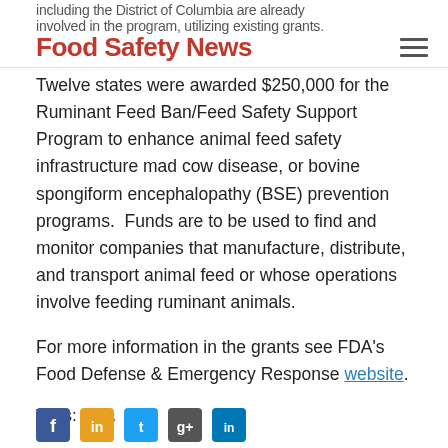including the District of Columbia are already involved in the program, utilizing existing grants. | Food Safety News
Twelve states were awarded $250,000 for the Ruminant Feed Ban/Feed Safety Support Program to enhance animal feed safety infrastructure mad cow disease, or bovine spongiform encephalopathy (BSE) prevention programs.  Funds are to be used to find and monitor companies that manufacture, distribute, and transport animal feed or whose operations involve feeding ruminant animals.
For more information in the grants see FDA's Food Defense & Emergency Response website.
Tags: FDA